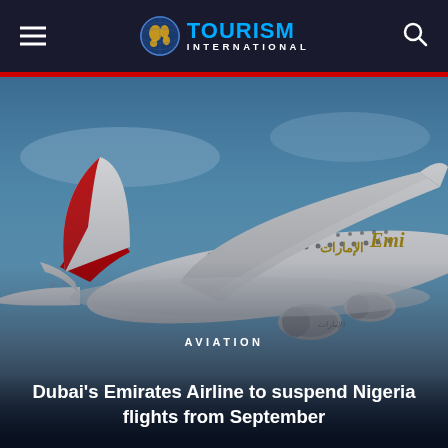TOURISM INTERNATIONAL
[Figure (photo): Emirates Airline Airbus A380 aircraft in flight against a blue sky, showing white fuselage with red tail and Emirates branding in Arabic and English]
AVIATION
Dubai's Emirates Airline to suspend Nigeria flights from September